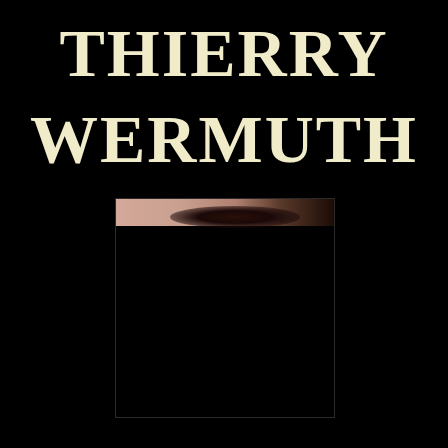THIERRY WERMUTH
[Figure (photo): Partially obscured portrait photograph showing only the top of a person's head with dark hair, against a black background. The image is mostly dark with a small strip at the top revealing skin and hair.]